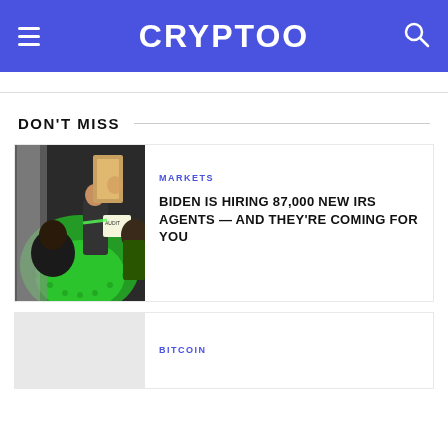CRYPTOO
DON'T MISS
[Figure (photo): Illustration showing people in a room with a person holding a newspaper, green glowing background with halftone dots]
MARKETS
BIDEN IS HIRING 87,000 NEW IRS AGENTS — AND THEY'RE COMING FOR YOU
BITCOIN